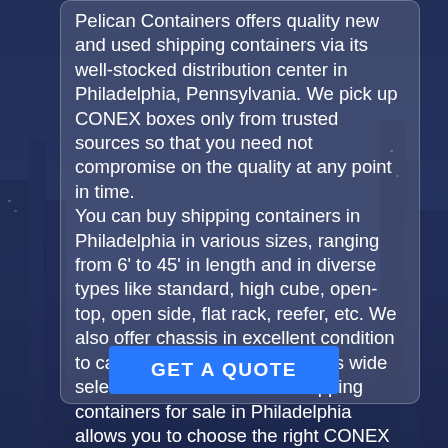Pelican Containers offers quality new and used shipping containers via its well-stocked distribution center in Philadelphia, Pennsylvania. We pick up CONEX boxes only from trusted sources so that you need not compromise on the quality at any point in time.
You can buy shipping containers in Philadelphia in various sizes, ranging from 6' to 45' in length and in diverse types like standard, high cube, open-top, open side, flat rack, reefer, etc. We also offer chassis in excellent condition to carry all your bulky loads. This wide selection of new and used shipping containers for sale in Philadelphia allows you to choose the right CONEX box for your specific needs. Be it the storage of your high-end bike or the bulky equipment—we have a CONEX box to serve your purpose. Have a specific need? We can address that as well since we undertake container modification services. What's more, our delivery is prompt too:
GET A QUOTE